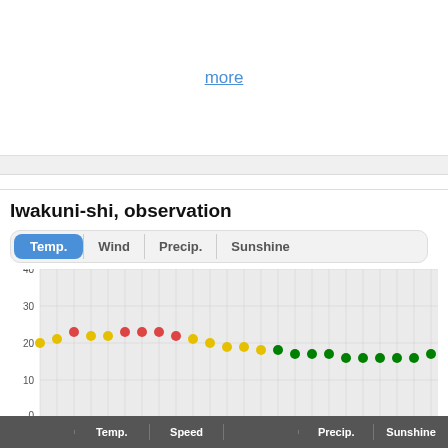more
Iwakuni-shi, observation
[Figure (line-chart): Temperature over time]
|  | Temp. | Speed |  | Precip. | Sunshine |
| --- | --- | --- | --- | --- | --- |